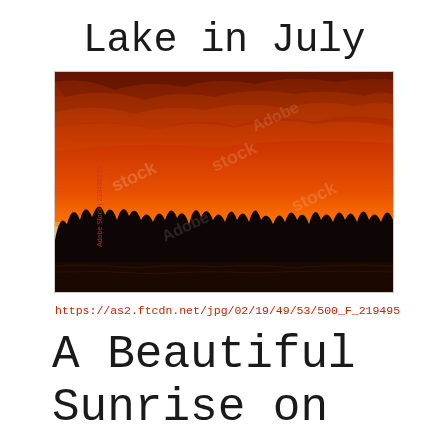Lake in July
[Figure (photo): A vivid orange and red sunset/sunrise over a dark silhouetted treeline and water, with dramatic clouds. Adobe Stock watermark visible. Stock image ID 219495.]
https://as2.ftcdn.net/jpg/02/19/49/53/500_F_219495
A Beautiful Sunrise on